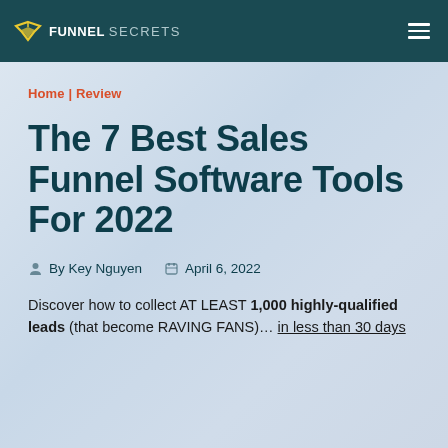FUNNEL SECRETS
Home | Review
The 7 Best Sales Funnel Software Tools For 2022
By Key Nguyen   April 6, 2022
Discover how to collect AT LEAST 1,000 highly-qualified leads (that become RAVING FANS)… in less than 30 days